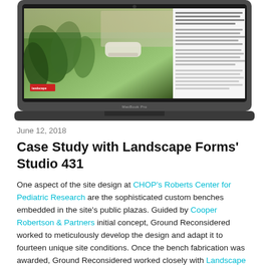[Figure (screenshot): MacBook Pro laptop showing a landscape design website with a garden/outdoor seating area image and article text on the right side]
June 12, 2018
Case Study with Landscape Forms' Studio 431
One aspect of the site design at CHOP's Roberts Center for Pediatric Research are the sophisticated custom benches embedded in the site's public plazas. Guided by Cooper Robertson & Partners initial concept, Ground Reconsidered worked to meticulously develop the design and adapt it to fourteen unique site conditions. Once the bench fabrication was awarded, Ground Reconsidered worked closely with Landscape Forms to fine-tune the assembly. Landscape Forms' custom department, Studio 431, and Landscape Architects at Ground Reconsidered collaborated to ensure every nuanced detail was realized. The resulting execution